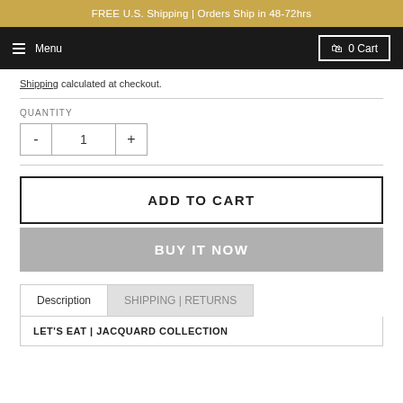FREE U.S. Shipping | Orders Ship in 48-72hrs
Menu  0 Cart
Shipping calculated at checkout.
QUANTITY
- 1 +
ADD TO CART
BUY IT NOW
Description  SHIPPING | RETURNS
LET'S EAT | JACQUARD COLLECTION